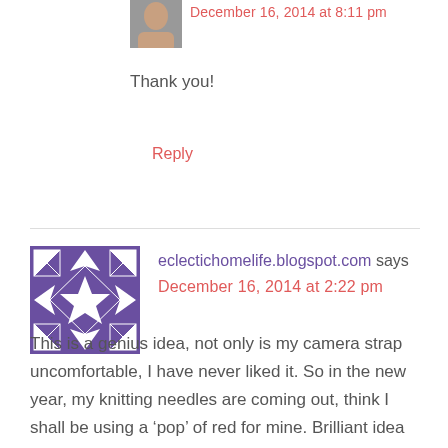[Figure (photo): Small avatar/profile photo thumbnail of a person, partially visible at top]
December 16, 2014 at 8:11 pm
Thank you!
Reply
[Figure (illustration): Purple and white geometric/star pattern avatar for eclectichomelife.blogspot.com]
eclectichomelife.blogspot.com says
December 16, 2014 at 2:22 pm
This is a genius idea, not only is my camera strap uncomfortable, I have never liked it. So in the new year, my knitting needles are coming out, think I shall be using a ‘pop’ of red for mine. Brilliant idea as always Twisted…. Love it x